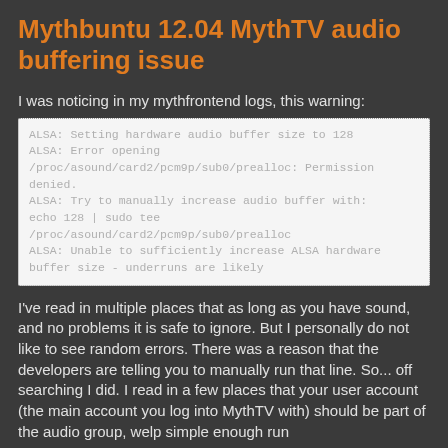Mythbuntu 12.04 MythTV audio buffering issue
I was noticing in my mythfrontend logs, this warning:
ALSA: Setting hardware audio buffer size to 128
ALSA: Error opening /proc/asound/card2/pcm9p/sub0/prealloc: Permission denied.
ALSA: Try to manually increase audio buffer with:
echo 128 | sudo tee /proc/asound/card2/pcm9p/sub0/prealloc
ALSA: Unable to sufficiently increase ALSA hardware buffer size - underruns are likely
I've read in multiple places that as long as you have sound, and no problems it is safe to ignore. But I personally do not like to see random errors. There was a reason that the developers are telling you to manually run that line. So... off searching I did. I read in a few places that your user account (the main account you log into MythTV with) should be part of the audio group, welp simple enough run
sudo usermod -a -G audio username